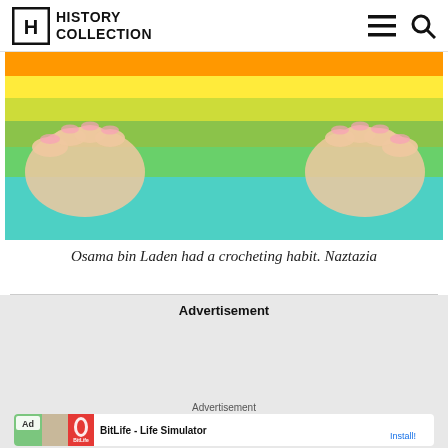History Collection
[Figure (photo): Hands holding rainbow-colored crochet work with green, teal, yellow, and orange stripes]
Osama bin Laden had a crocheting habit. Naztazia
Advertisement
Advertisement
[Figure (screenshot): BitLife - Life Simulator app advertisement with Ad badge and colorful app icons]